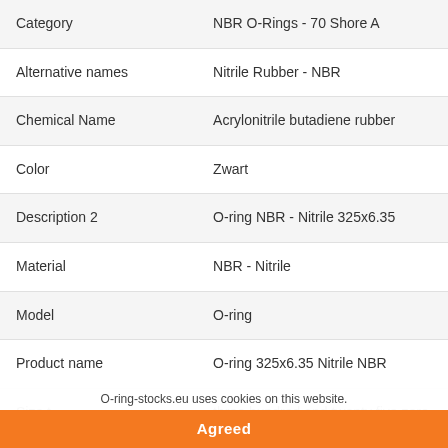| Property | Value |
| --- | --- |
| Category | NBR O-Rings - 70 Shore A |
| Alternative names | Nitrile Rubber - NBR |
| Chemical Name | Acrylonitrile butadiene rubber |
| Color | Zwart |
| Description 2 | O-ring NBR - Nitrile 325x6.35 |
| Material | NBR - Nitrile |
| Model | O-ring |
| Product name | O-ring 325x6.35 Nitrile NBR |
| Size t | three hundred and twenty five zero by six comma thirty five |
| Trade names | Lanxess - Zeon - and LG Chem |
| Alternative Size |  |
O-ring-stocks.eu uses cookies on this website.
Agreed